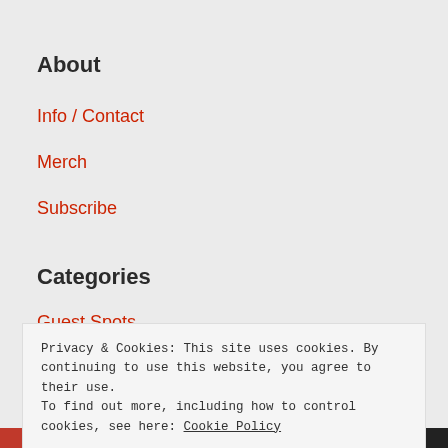About
Info / Contact
Merch
Subscribe
Categories
Guest Spots
Privacy & Cookies: This site uses cookies. By continuing to use this website, you agree to their use.
To find out more, including how to control cookies, see here: Cookie Policy
Close and accept